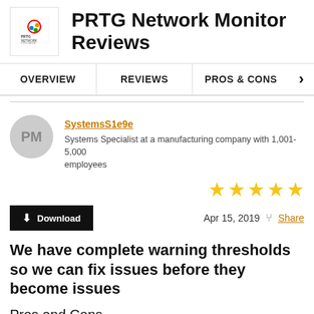PRTG Network Monitor Reviews
OVERVIEW | REVIEWS | PROS & CONS
SystemsS1e9e
Systems Specialist at a manufacturing company with 1,001-5,000 employees
★★★★★ Apr 15, 2019  Share
We have complete warning thresholds so we can fix issues before they become issues
Pros and Cons